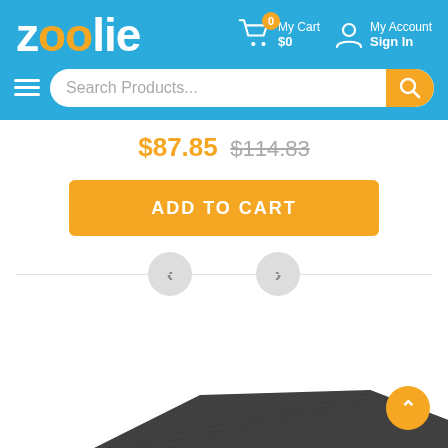[Figure (screenshot): Zoolie e-commerce website header with logo, cart, account icons, and search bar]
$87.85 $114.83
ADD TO CART
[Figure (photo): Dark gray rectangular floor mat photographed at an angle on white background]